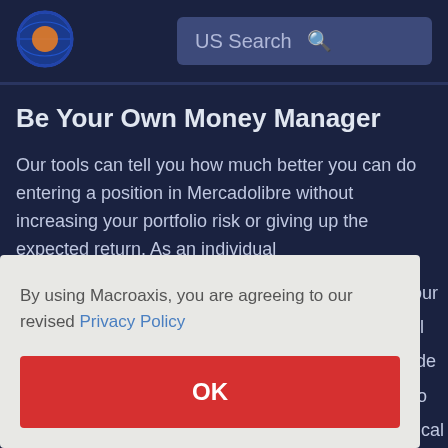[Figure (logo): Macroaxis circular globe logo with orange and blue coloring]
US Search
Be Your Own Money Manager
Our tools can tell you how much better you can do entering a position in Mercadolibre without increasing your portfolio risk or giving up the expected return. As an individual
By using Macroaxis, you are agreeing to our revised Privacy Policy
OK